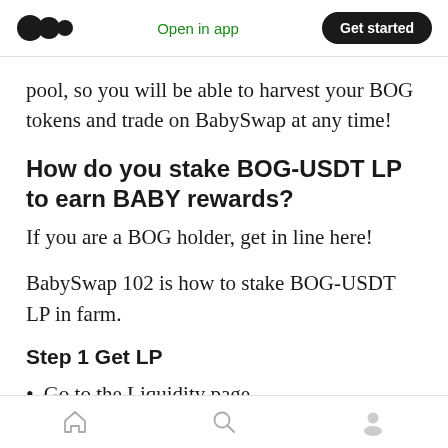Open in app | Get started
pool, so you will be able to harvest your BOG tokens and trade on BabySwap at any time!
How do you stake BOG-USDT LP to earn BABY rewards?
If you are a BOG holder, get in line here!
BabySwap 102 is how to stake BOG-USDT LP in farm.
Step 1 Get LP
Go to the Liquidity page
Home | Search | Profile